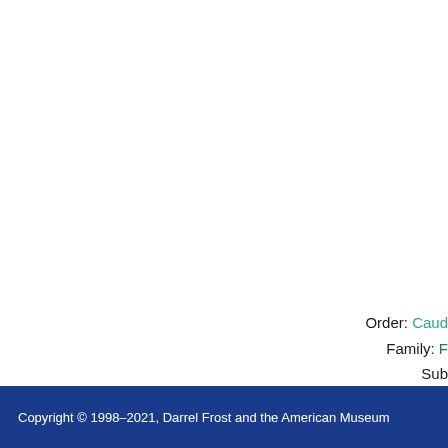Order: Caud...
Family: ...
Sub...
Copyright © 1998–2021, Darrel Frost and the American Museum...